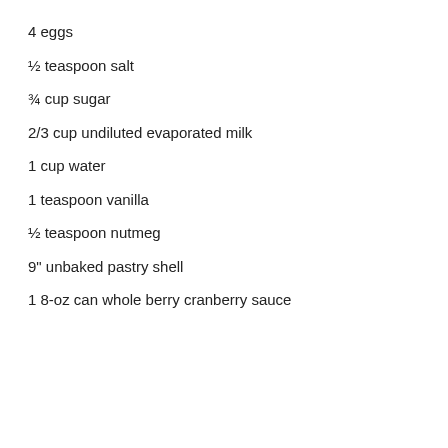4 eggs
½ teaspoon salt
¾ cup sugar
2/3 cup undiluted evaporated milk
1 cup water
1 teaspoon vanilla
½ teaspoon nutmeg
9" unbaked pastry shell
1 8-oz can whole berry cranberry sauce